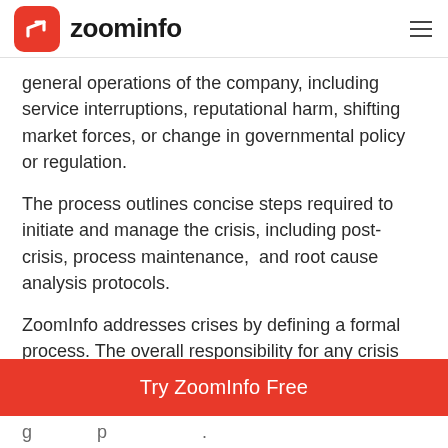zoominfo
general operations of the company, including service interruptions, reputational harm, shifting market forces, or change in governmental policy or regulation.
The process outlines concise steps required to initiate and manage the crisis, including post-crisis, process maintenance,  and root cause analysis protocols.
ZoomInfo addresses crises by defining a formal process. The overall responsibility for any crisis resides with the Crisis Management
Try ZoomInfo Free